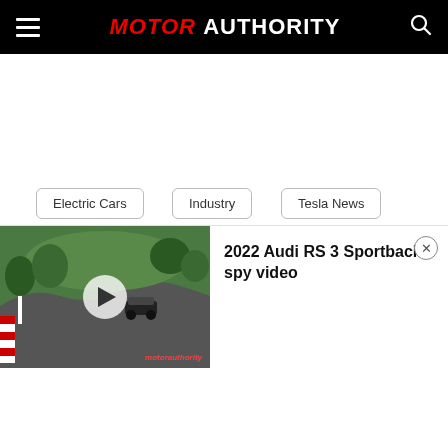MOTOR AUTHORITY
Electric Cars
Industry
Tesla News
CONTRIBUTE:
Send us a tip
[Figure (screenshot): Video player thumbnail showing a car on the Nürburgring race track, with play button overlay and watermark. Title panel shows '2022 Audi RS 3 Sportback spy video' with close button.]